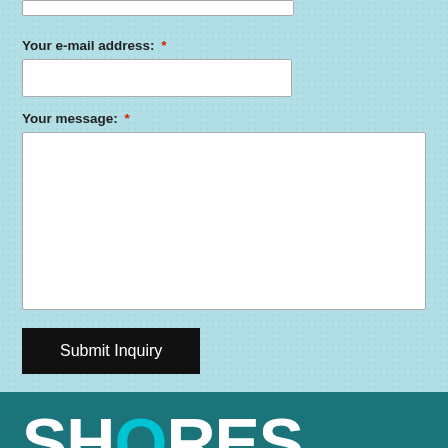[input field at top]
Your e-mail address: *
[email input field]
Your message: *
[message textarea]
Submit Inquiry
SHORES
300 The East Mall
Toronto, ON
Tel: (905) 581-8172
E-mail: info@shoresoptical.com